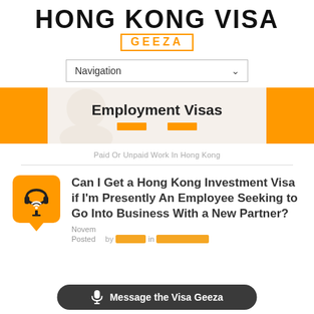[Figure (logo): Hong Kong Visa Geeza logo with bold text and orange bordered GEEZA box]
[Figure (screenshot): Navigation dropdown bar with 'Navigation' label and chevron]
[Figure (infographic): Banner with orange side bars showing 'Employment Visas' text and two orange accent bars]
Paid Or Unpaid Work In Hong Kong
Can I Get a Hong Kong Investment Visa if I'm Presently An Employee Seeking to Go Into Business With a New Partner?
November ...
Posted by ... in Employment ...
[Figure (infographic): Message the Visa Geeza dark pill-shaped button with microphone icon]